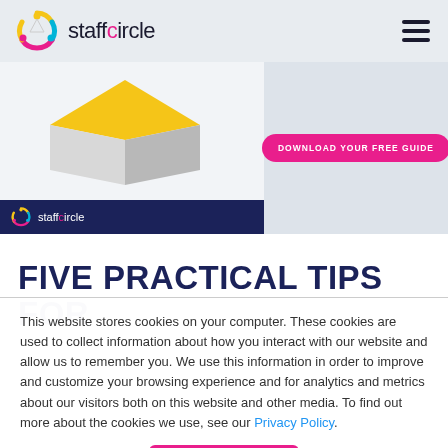staffcircle
[Figure (screenshot): Promotional banner with a 3D diamond shape graphic on the left side on white background with dark navy bar at bottom containing the StaffCircle logo. Right side shows a pink 'DOWNLOAD YOUR FREE GUIDE' button on a light grey background.]
FIVE PRACTICAL TIPS FOR
This website stores cookies on your computer. These cookies are used to collect information about how you interact with our website and allow us to remember you. We use this information in order to improve and customize your browsing experience and for analytics and metrics about our visitors both on this website and other media. To find out more about the cookies we use, see our Privacy Policy.
Accept